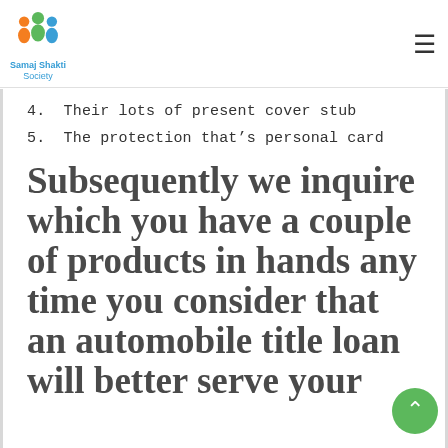Samaj Shakti Society
4.  Their lots of present cover stub
5.  The protection that’s personal card
Subsequently we inquire which you have a couple of products in hands any time you consider that an automobile title loan will better serve your